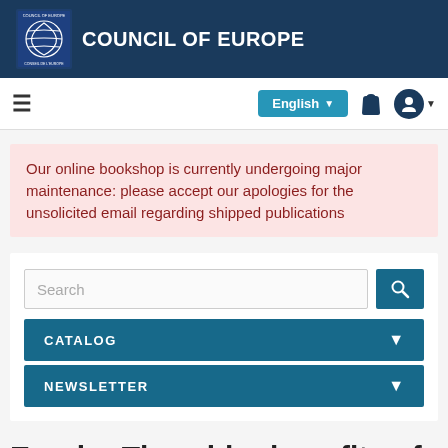COUNCIL OF EUROPE
≡  English  🛍  👤
Our online bookshop is currently undergoing major maintenance: please accept our apologies for the unsolicited email regarding shipped publications
Search
CATALOG
NEWSLETTER
E-pub - The wider benefits of